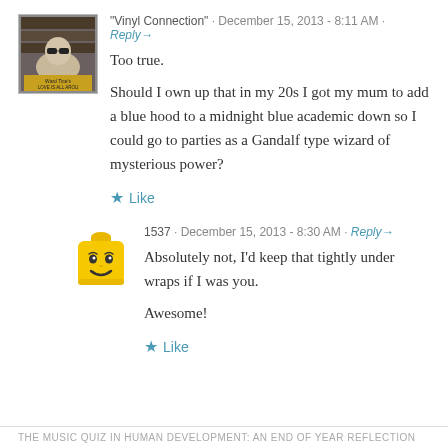"Vinyl Connection" · December 15, 2013 - 8:11 AM · Reply→
Too true.
Should I own up that in my 20s I got my mum to add a blue hood to a midnight blue academic down so I could go to parties as a Gandalf type wizard of mysterious power?
★ Like
1537 · December 15, 2013 - 8:30 AM · Reply→
Absolutely not, I'd keep that tightly under wraps if I was you.
Awesome!
★ Like
THE MUSIC QUIZ IN HUMAN DEVELOPMENT: AN END OF YEAR REFLECTION